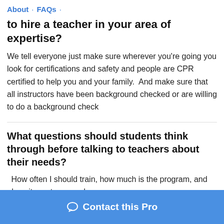About · FAQs ·
to hire a teacher in your area of expertise?
We tell everyone just make sure wherever you're going you look for certifications and safety and people are CPR certified to help you and your family.  And make sure that all instructors have been background checked or are willing to do a background check
What questions should students think through before talking to teachers about their needs?
How often I should train, how much is the program, and does it meet my needs
[Figure (other): Blue button reading 'Contact this Pro' with a chat bubble icon]